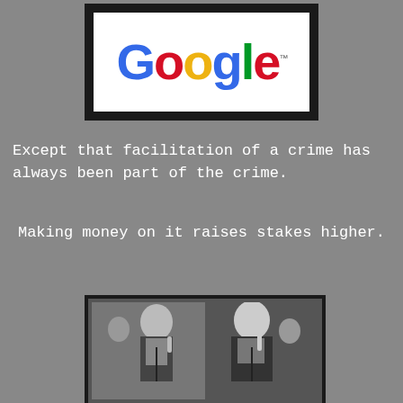[Figure (logo): Google logo with multicolor lettering on white background inside dark border frame]
Except that facilitation of a crime has always been part of the crime.
Making money on it raises stakes higher.
[Figure (photo): Black and white photo of two men in suits holding fingers to their lips in a shushing gesture]